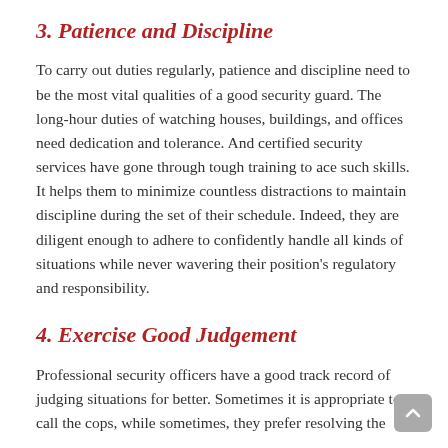3. Patience and Discipline
To carry out duties regularly, patience and discipline need to be the most vital qualities of a good security guard. The long-hour duties of watching houses, buildings, and offices need dedication and tolerance. And certified security services have gone through tough training to ace such skills. It helps them to minimize countless distractions to maintain discipline during the set of their schedule. Indeed, they are diligent enough to adhere to confidently handle all kinds of situations while never wavering their position's regulatory and responsibility.
4. Exercise Good Judgement
Professional security officers have a good track record of judging situations for better. Sometimes it is appropriate to call the cops, while sometimes, they prefer resolving the